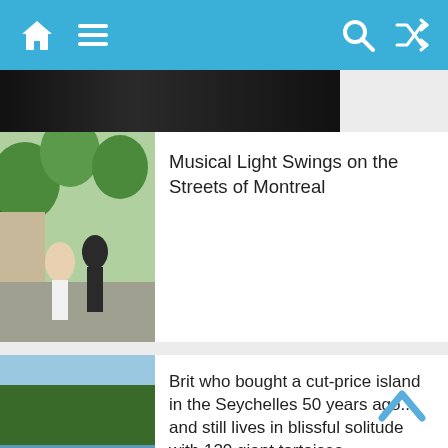Navigation bar with home, menu, search, shuffle icons
[Figure (screenshot): Dark thumbnail image stub at top]
[Figure (photo): Photo of people on a city street with trees in Montreal]
Musical Light Swings on the Streets of Montreal
[Figure (photo): Man sitting on a beach in the Seychelles]
Brit who bought a cut-price island in the Seychelles 50 years ago... and still lives in blissful solitude with 120 giant tortoises